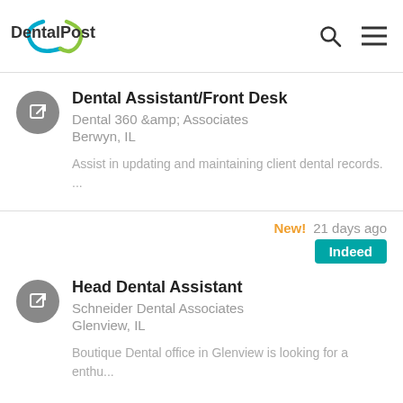DentalPost
Dental Assistant/Front Desk | Dental 360 &amp; Associates | Berwyn, IL | Assist in updating and maintaining client dental records. ...
Head Dental Assistant | Schneider Dental Associates | Glenview, IL | Boutique Dental office in Glenview is looking for a enthu...
New! 21 days ago
[Figure (logo): Indeed badge - teal rectangle with white text]